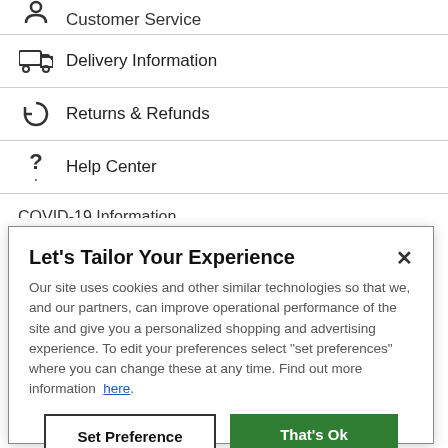Customer Service (partial, top)
Delivery Information
Returns & Refunds
Help Center
COVID-19 Information
Accessibility (partial)
Let's Tailor Your Experience
Our site uses cookies and other similar technologies so that we, and our partners, can improve operational performance of the site and give you a personalized shopping and advertising experience. To edit your preferences select "set preferences" where you can change these at any time. Find out more information here.